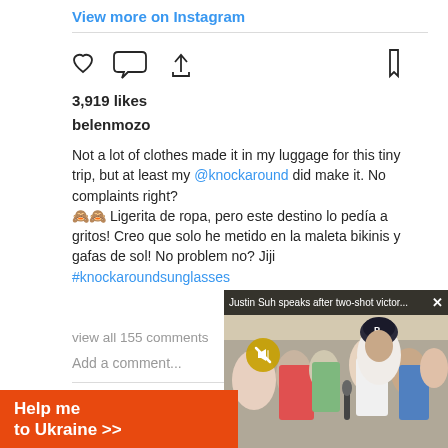View more on Instagram
3,919 likes
belenmozo
Not a lot of clothes made it in my luggage for this tiny trip, but at least my @knockaround did make it. No complaints right?
🙈🙈 Ligerita de ropa, pero este destino lo pedía a gritos! Creo que solo he metido en la maleta bikinis y gafas de sol! No problem no? Jiji
#knockaroundsunglasses
view all 155 comments
Add a comment...
[Figure (screenshot): Video popup overlay showing Justin Suh speaks after two-shot victor... with close button and mute icon, showing crowd/golf scene]
belenmozo
134K followers
Help send me to Ukraine >>